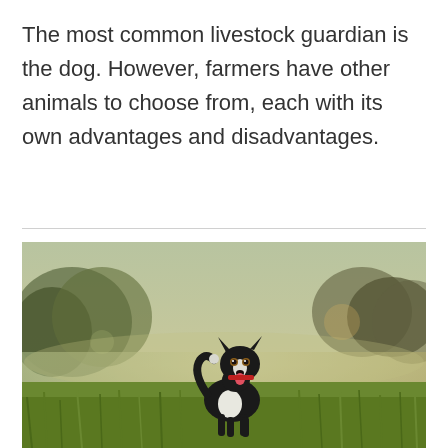The most common livestock guardian is the dog. However, farmers have other animals to choose from, each with its own advantages and disadvantages.
[Figure (photo): A black and white Border Collie dog standing alert in a green grassy field with a blurred forest and misty background.]